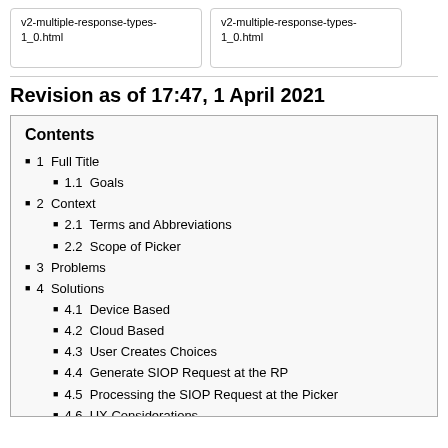v2-multiple-response-types-1_0.html
v2-multiple-response-types-1_0.html
Revision as of 17:47, 1 April 2021
Contents
1  Full Title
1.1  Goals
2  Context
2.1  Terms and Abbreviations
2.2  Scope of Picker
3  Problems
4  Solutions
4.1  Device Based
4.2  Cloud Based
4.3  User Creates Choices
4.4  Generate SIOP Request at the RP
4.5  Processing the SIOP Request at the Picker
4.6  UX Considerations
4.7  Security Considerations